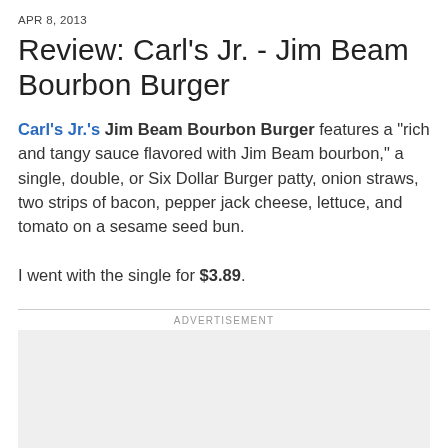APR 8, 2013
Review: Carl's Jr. - Jim Beam Bourbon Burger
Carl's Jr.'s Jim Beam Bourbon Burger features a "rich and tangy sauce flavored with Jim Beam bourbon," a single, double, or Six Dollar Burger patty, onion straws, two strips of bacon, pepper jack cheese, lettuce, and tomato on a sesame seed bun.

I went with the single for $3.89.
ADVERTISEMENT